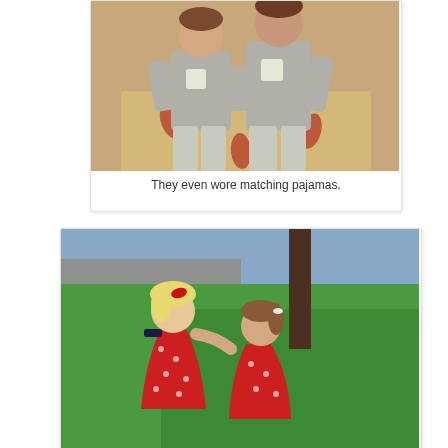[Figure (photo): Two young children wearing matching gray cat pajamas standing indoors on a patterned rug with hardwood floor background.]
They even wore matching pajamas.
[Figure (photo): Two young girls wearing matching red polka dot dresses hugging outside on green grass with a street and tree in the background.]